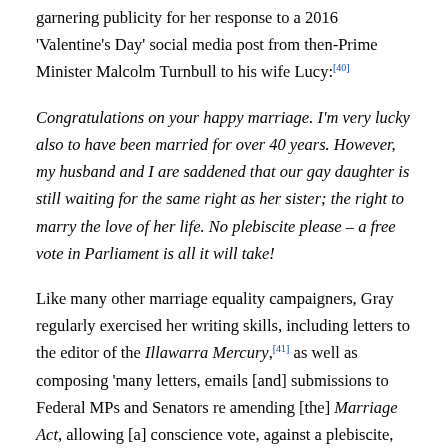garnering publicity for her response to a 2016 'Valentine's Day' social media post from then-Prime Minister Malcolm Turnbull to his wife Lucy:[40]
Congratulations on your happy marriage. I'm very lucky also to have been married for over 40 years. However, my husband and I are saddened that our gay daughter is still waiting for the same right as her sister; the right to marry the love of her life. No plebiscite please – a free vote in Parliament is all it will take!
Like many other marriage equality campaigners, Gray regularly exercised her writing skills, including letters to the editor of the Illawarra Mercury,[41] as well as composing 'many letters, emails [and] submissions to Federal MPs and Senators re amending [the] Marriage Act, allowing [a] conscience vote, against a plebiscite,